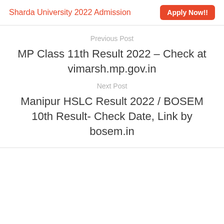Sharda University 2022 Admission   Apply Now!!
Previous Post
MP Class 11th Result 2022 – Check at vimarsh.mp.gov.in
Next Post
Manipur HSLC Result 2022 / BOSEM 10th Result- Check Date, Link by bosem.in